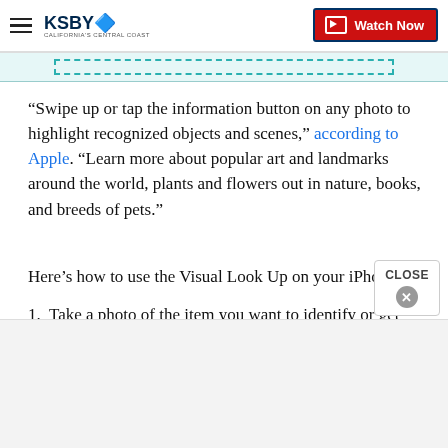KSBY California's Central Coast — Watch Now
[Figure (screenshot): Teal dashed border banner/advertisement placeholder]
“Swipe up or tap the information button on any photo to highlight recognized objects and scenes,” according to Apple. “Learn more about popular art and landmarks around the world, plants and flowers out in nature, books, and breeds of pets.”
Here’s how to use the Visual Look Up on your iPhone:
1. Take a photo of the item you want to identify or get more information about.
2. Open your Photos app and find the image...